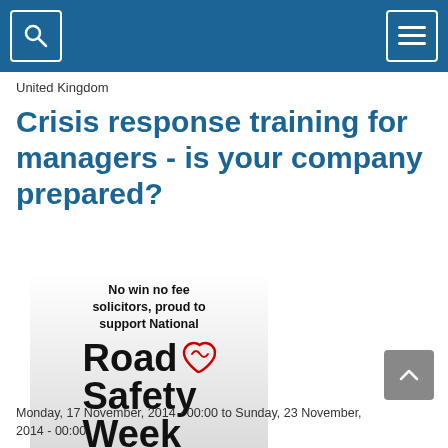United Kingdom
Crisis response training for managers - is your company prepared?
[Figure (logo): Road Safety Week logo with text: No win no fee solicitors, proud to support National Road Safety Week]
Monday, 17 November, 2014 - 00:00 to Sunday, 23 November, 2014 - 00:00